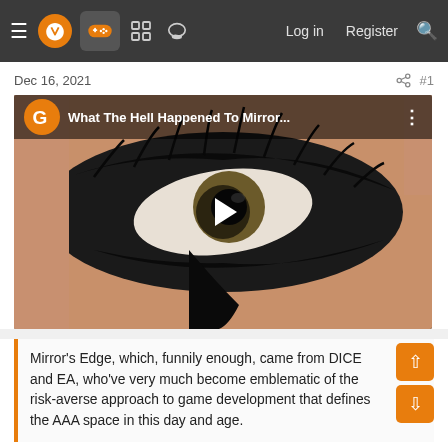≡ [logo] [controller icon] [grid icon] [chat icon]  Log in  Register  🔍
Dec 16, 2021
[Figure (screenshot): YouTube video thumbnail showing a close-up of an eye with heavy black eyeliner and mascara (Mirror's Edge character Faith). Overlay bar at top shows a stylized G logo and title 'What The Hell Happened To Mirror...' with three-dot menu. A circular play button is centered on the image.]
Mirror's Edge, which, funnily enough, came from DICE and EA, who've very much become emblematic of the risk-averse approach to game development that defines the AAA space in this day and age.
Very much a prime example of a cult classic, the original Mirror's